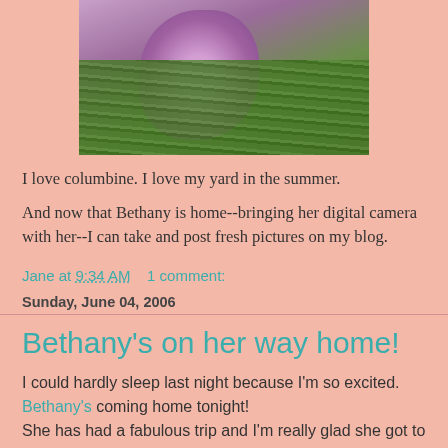[Figure (photo): Close-up photo of a purple/pink columbine flower with green foliage in the background]
I love columbine. I love my yard in the summer.
And now that Bethany is home--bringing her digital camera with her--I can take and post fresh pictures on my blog.
Jane at 9:34 AM    1 comment:
Sunday, June 04, 2006
Bethany's on her way home!
I could hardly sleep last night because I'm so excited. Bethany's coming home tonight!
She has had a fabulous trip and I'm really glad she got to go, but we're all ready for her to be home again.
Jane at 9:00 AM    1 comment: